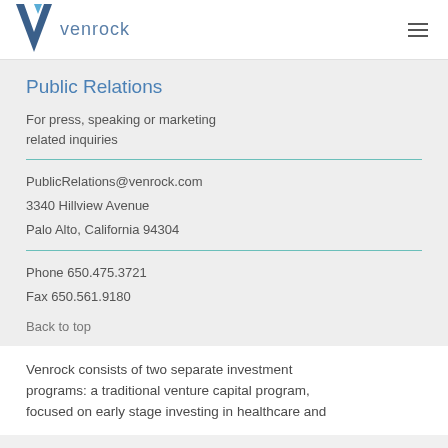venrock
Public Relations
For press, speaking or marketing related inquiries
PublicRelations@venrock.com
3340 Hillview Avenue
Palo Alto, California 94304
Phone 650.475.3721
Fax 650.561.9180
Back to top
Venrock consists of two separate investment programs: a traditional venture capital program, focused on early stage investing in healthcare and